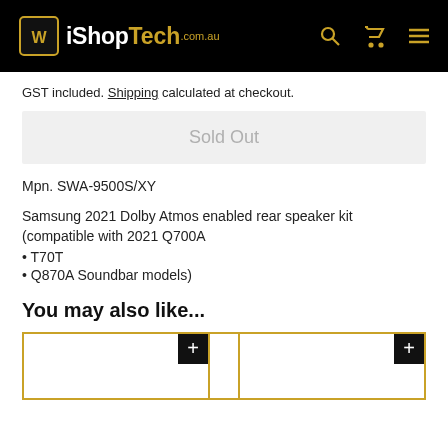iShopTech.com.au
GST included. Shipping calculated at checkout.
Sold Out
Mpn. SWA-9500S/XY
Samsung 2021 Dolby Atmos enabled rear speaker kit (compatible with 2021 Q700A
• T70T
• Q870A Soundbar models)
You may also like...
[Figure (other): Two product cards with gold borders and black plus buttons, partially visible at bottom of page]